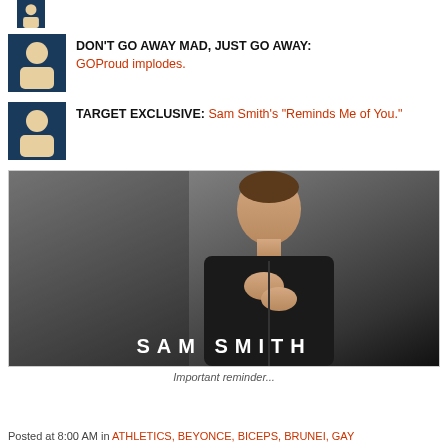DON'T GO AWAY MAD, JUST GO AWAY: GOProud implodes.
TARGET EXCLUSIVE: Sam Smith's "Reminds Me of You."
[Figure (photo): Sam Smith promotional photo with name overlay text 'SAM SMITH']
Important reminder...
Posted at 8:00 AM in ATHLETICS, BEYONCE, BICEPS, BRUNEI, GAY